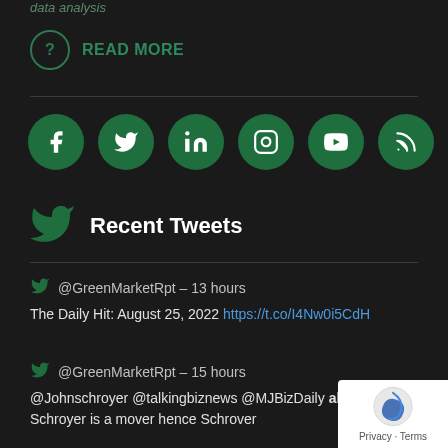data analysis
? READ MORE
[Figure (infographic): Six green circular social media icons: Facebook, Twitter, LinkedIn, Instagram, YouTube, RSS feed]
Recent Tweets
@GreenMarketRpt – 13 hours
The Daily Hit: August 25, 2022 https://t.co/I4Nw0i5CdH
@GreenMarketRpt – 15 hours
@Johnschroyer @talkingbiznews @MJBizDaily almost righ Schroyer is a mover hence Schrover